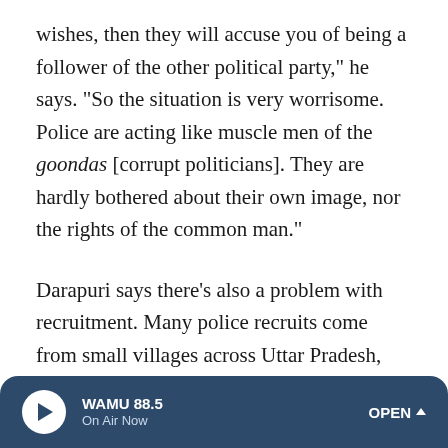wishes, then they will accuse you of being a follower of the other political party," he says. "So the situation is very worrisome. Police are acting like muscle men of the goondas [corrupt politicians]. They are hardly bothered about their own image, nor the rights of the common man."
Darapuri says there's also a problem with recruitment. Many police recruits come from small villages across Uttar Pradesh, where caste and clan rivalries pervade. They bring those biases with them, he says.
In addition, state government data show that Adityanath's administration has hired more members of the chief minister's own Thakur caste and other dominant castes to top police jobs, over members of other castes.
WAMU 88.5 On Air Now OPEN